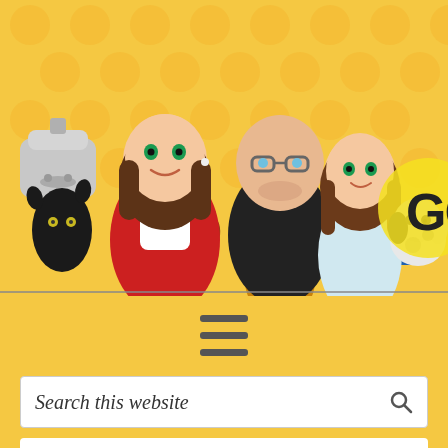[Figure (illustration): Cartoon family illustration on a yellow polka dot background. Features a woman in a red apron holding a slow cooker, a bald man with glasses playing guitar, a young girl holding a blue book, a black cat, a brown dachshund, a black-and-white fluffy dog, and partial 'GO' logo text on the right.]
[Figure (other): Hamburger menu icon — three horizontal dark gray lines stacked vertically, centered on yellow polka dot background.]
Search this website
Home » Miss Add » 10 Ways to Use a Dry Erase Board